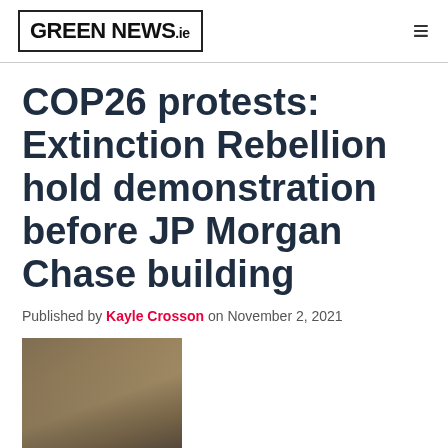GREEN NEWS.ie
COP26 protests: Extinction Rebellion hold demonstration before JP Morgan Chase building
Published by Kayle Crosson on November 2, 2021
[Figure (photo): Protest photo outside JP Morgan building, person in orange costume visible]